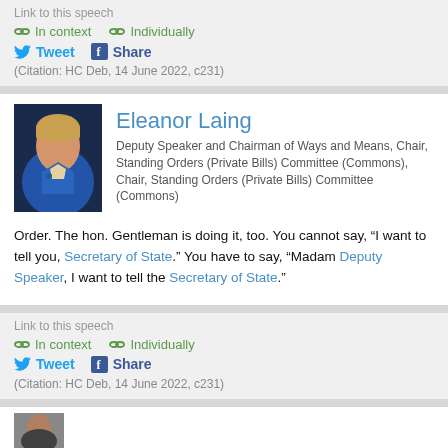Link to this speech
In context  Individually
Tweet  Share
(Citation: HC Deb, 14 June 2022, c231)
[Figure (photo): Portrait photo of Eleanor Laing wearing a blue jacket]
Eleanor Laing
Deputy Speaker and Chairman of Ways and Means, Chair, Standing Orders (Private Bills) Committee (Commons), Chair, Standing Orders (Private Bills) Committee (Commons)
Order. The hon. Gentleman is doing it, too. You cannot say, “I want to tell you, Secretary of State.” You have to say, “Madam Deputy Speaker, I want to tell the Secretary of State.”
Link to this speech
In context  Individually
Tweet  Share
(Citation: HC Deb, 14 June 2022, c231)